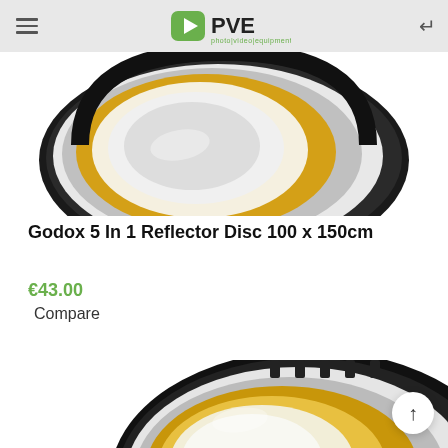PVE photo|video|equipment
[Figure (photo): Godox 5-in-1 reflector disc shown from above, displaying silver, gold, white and black surfaces fanned out in a layered oval shape, with a PVE logo/header bar at top]
Godox 5 In 1 Reflector Disc 100 x 150cm
€43.00
Compare
[Figure (photo): Bottom portion of a second Godox multi-panel reflector disc, showing layered silver, gold, white and black surfaces fanned out, partially cropped at bottom of page]